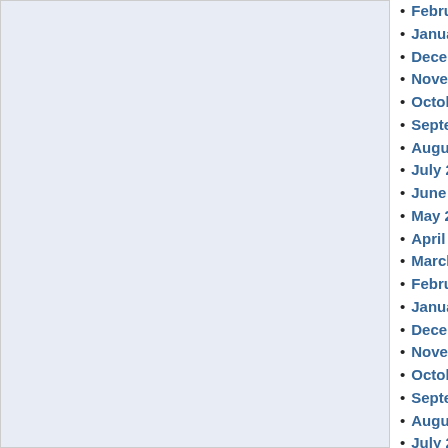[Figure (other): Light blue/lavender shaded rectangular panel on the left side of the page]
February
January
Decemb...
Novemb...
October
Septemb...
August 2...
July 202...
June 202...
May 202...
April 202...
March 20...
February
January
Decemb...
Novemb...
October
Septemb...
August 2...
July 202...
June 202...
May 202...
April 202...
March 20...
February
January
Decemb...
Novemb...
October
Septemb...
August 2...
July 201...